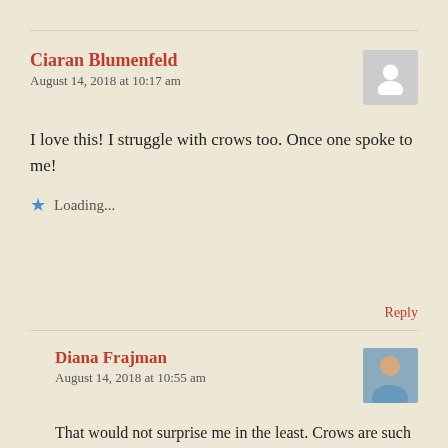Ciaran Blumenfeld
August 14, 2018 at 10:17 am
I love this! I struggle with crows too. Once one spoke to me!
Loading...
Reply
Diana Frajman
August 14, 2018 at 10:55 am
That would not surprise me in the least. Crows are such tricksters.
Thanks you for sharing your experience 😊